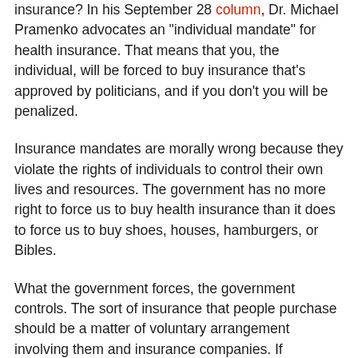insurance? In his September 28 column, Dr. Michael Pramenko advocates an "individual mandate" for health insurance. That means that you, the individual, will be forced to buy insurance that's approved by politicians, and if you don't you will be penalized.
Insurance mandates are morally wrong because they violate the rights of individuals to control their own lives and resources. The government has no more right to force us to buy health insurance than it does to force us to buy shoes, houses, hamburgers, or Bibles.
What the government forces, the government controls. The sort of insurance that people purchase should be a matter of voluntary arrangement involving them and insurance companies. If politicians force you to buy health insurance, it will be insurance that politicians and bureaucrats design for you. Such insurance will be designed to serve special interests, not you. It